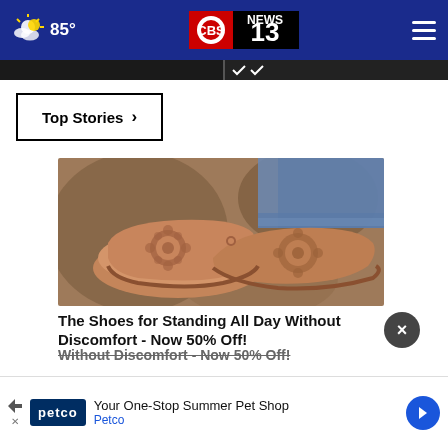85° | CBS 13 NEWS
Top Stories ›
[Figure (photo): Close-up photo of tan/brown laser-cut floral pattern slip-on shoes worn with rolled blue jeans, against a fuzzy brown background]
The Shoes for Standing All Day Without Discomfort - Now 50% Off!
Your One-Stop Summer Pet Shop
Petco